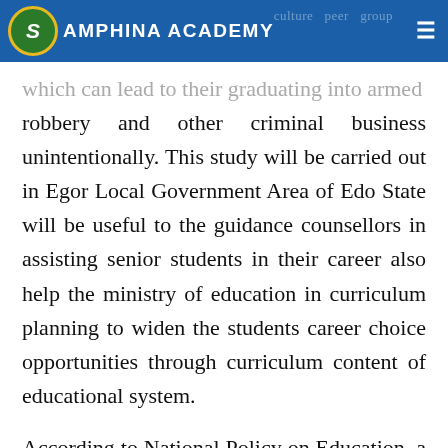AMPHINA ACADEMY
which can lead to their graduating into armed robbery and other criminal business unintentionally. This study will be carried out in Egor Local Government Area of Edo State will be useful to the guidance counsellors in assisting senior students in their career also help the ministry of education in curriculum planning to widen the students career choice opportunities through curriculum content of educational system.
According to National Policy on Education, a school is incomplete without a counsellor's office. If you are teaching biology and the child does not understand